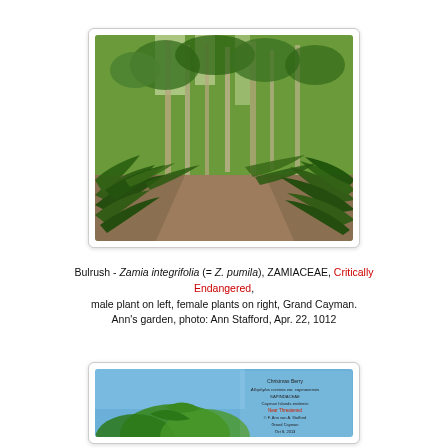[Figure (photo): Photo of Bulrush (Zamia integrifolia) plants in a forest setting, Grand Cayman. Shows male plant on left and female plants on right along a path surrounded by lush green vegetation and tall trees.]
Bulrush - Zamia integrifolia (= Z. pumila), ZAMIACEAE, Critically Endangered, male plant on left, female plants on right, Grand Cayman. Ann's garden, photo: Ann Stafford, Apr. 22, 1012
[Figure (photo): Partial photo showing a plant with green leaves against a blue sky. Contains text overlay: Christmas Berry, Allophylus cominia var. caymanensis, SAPINDACEAE, Cayman Islands endemic, Near Threatened, © F. Ann van A. Stafford, Grand Cayman, Oct 8, 2013]